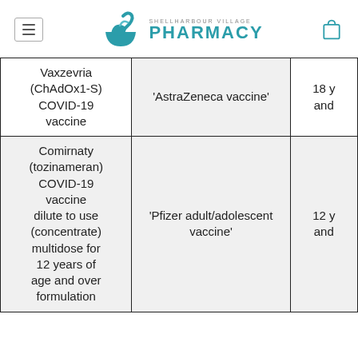Shellharbour Village Pharmacy
| Vaccine name | Common name | Age |
| --- | --- | --- |
| Vaxzevria (ChAdOx1-S) COVID-19 vaccine | 'AstraZeneca vaccine' | 18 y and |
| Comirnaty (tozinameran) COVID-19 vaccine dilute to use (concentrate) multidose for 12 years of age and over formulation | 'Pfizer adult/adolescent vaccine' | 12 y and |